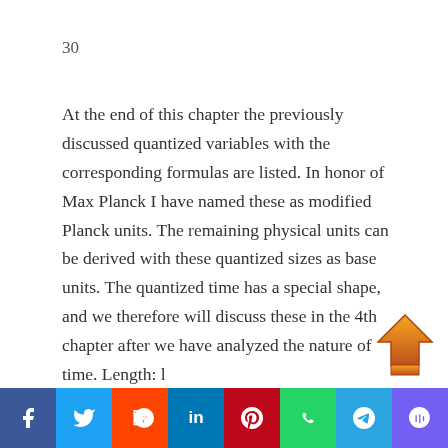30
At the end of this chapter the previously discussed quantized variables with the corresponding formulas are listed. In honor of Max Planck I have named these as modified Planck units. The remaining physical units can be derived with these quantized sizes as base units. The quantized time has a special shape, and we therefore will discuss these in the 4th chapter after we have analyzed the nature of time. Length: l P = 10 −26 m Mass: m p =